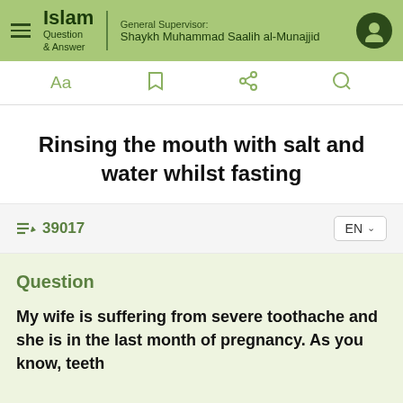Islam Question & Answer — General Supervisor: Shaykh Muhammad Saalih al-Munajjid
Rinsing the mouth with salt and water whilst fasting
✏ 39017
Question
My wife is suffering from severe toothache and she is in the last month of pregnancy. As you know, teeth